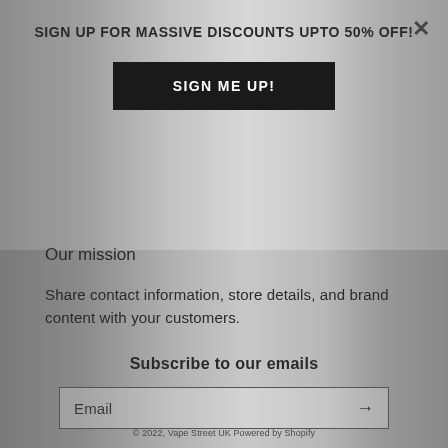SIGN UP FOR MASSIVE DISCOUNTS UPTO 50% OFF!
SIGN ME UP!
Our mission
Share contact information, store details, and brand content with your customers.
Subscribe to our emails
Email
© 2022, Vape Street UK Powered by Shopify